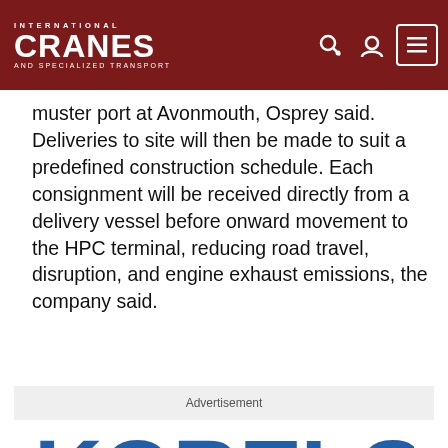INTERNATIONAL CRANES AND SPECIALIZED TRANSPORT
muster port at Avonmouth, Osprey said. Deliveries to site will then be made to suit a predefined construction schedule. Each consignment will be received directly from a delivery vessel before onward movement to the HPC terminal, reducing road travel, disruption, and engine exhaust emissions, the company said.
Advertisement
[Figure (logo): Kobelco logo in blue bold text]